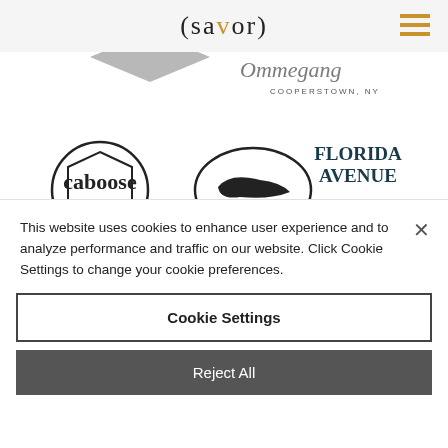(savor)
[Figure (logo): Brewery sponsor logos including Caboose Brewing Co, Dogfish Head, Florida Avenue Brewing Co, Gearhouse Brewing Co, Hawksbill Brewing Co, Oskar Blues, Samuel Adams]
This website uses cookies to enhance user experience and to analyze performance and traffic on our website. Click Cookie Settings to change your cookie preferences.
Cookie Settings
Reject All